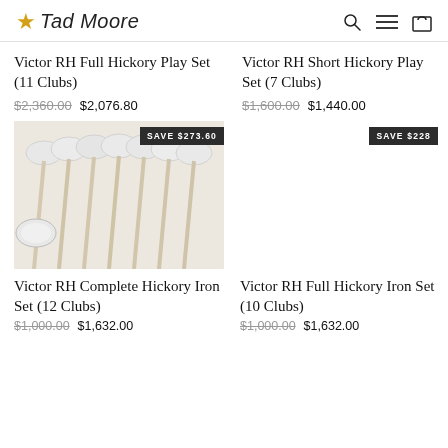Tad Moore — logo with star icon, search, menu, and cart icons
Victor RH Full Hickory Play Set (11 Clubs)
$2,360.00  $2,076.80
Victor RH Short Hickory Play Set (7 Clubs)
$1,600.00  $1,440.00
[Figure (photo): Golf iron clubs with hickory shafts arranged in a row, light beige/cream background, with SAVE $273.60 badge]
[Figure (photo): Empty product image area with SAVE $228 badge]
Victor RH Complete Hickory Iron Set (12 Clubs)
$1,000.00  $1,632.00
Victor RH Full Hickory Iron Set (10 Clubs)
$1,000.00  $1,632.00